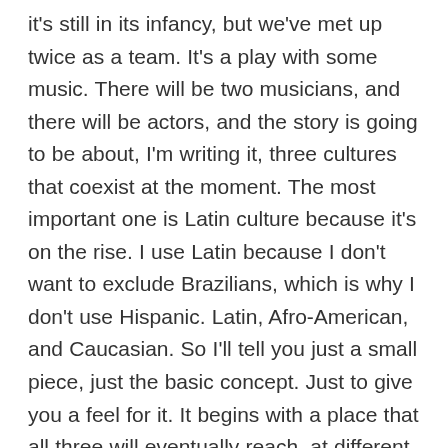it's still in its infancy, but we've met up twice as a team. It's a play with some music. There will be two musicians, and there will be actors, and the story is going to be about, I'm writing it, three cultures that coexist at the moment. The most important one is Latin culture because it's on the rise. I use Latin because I don't want to exclude Brazilians, which is why I don't use Hispanic. Latin, Afro-American, and Caucasian. So I'll tell you just a small piece, just the basic concept. Just to give you a feel for it. It begins with a place that all three will eventually reach, at different moments. They will enjoy the space, and then get off the stage, but at some point, they will get to the space at the same time, but instead of settling